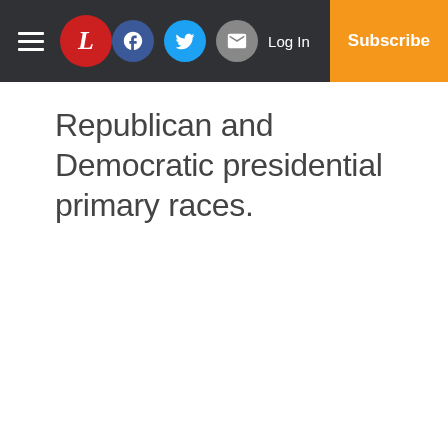[Newspaper header navigation bar with hamburger menu, L logo, Facebook, Twitter, Email icons, Log In, Subscribe]
Republican and Democratic presidential primary races.